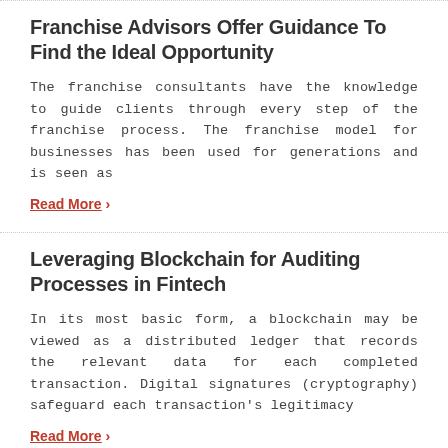Franchise Advisors Offer Guidance To Find the Ideal Opportunity
The franchise consultants have the knowledge to guide clients through every step of the franchise process. The franchise model for businesses has been used for generations and is seen as
Read More ›
Leveraging Blockchain for Auditing Processes in Fintech
In its most basic form, a blockchain may be viewed as a distributed ledger that records the relevant data for each completed transaction. Digital signatures (cryptography) safeguard each transaction's legitimacy
Read More ›